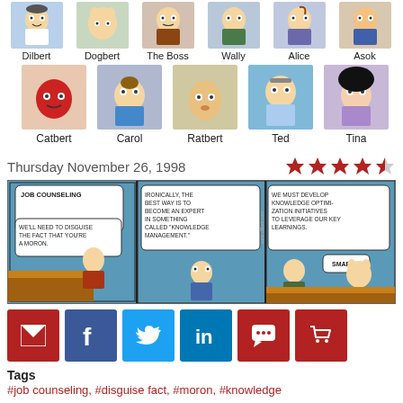[Figure (illustration): Character icons row 1: Dilbert, Dogbert, The Boss, Wally, Alice, Asok]
[Figure (illustration): Character icons row 2: Catbert, Carol, Ratbert, Ted, Tina]
Thursday November 26, 1998
[Figure (illustration): Dilbert comic strip: JOB COUNSELING - three panels. Panel 1: 'WE'LL NEED TO DISGUISE THE FACT THAT YOU'RE A MORON.' Panel 2: 'IRONICALLY, THE BEST WAY IS TO BECOME AN EXPERT IN SOMETHING CALLED "KNOWLEDGE MANAGEMENT."' Panel 3: 'WE MUST DEVELOP KNOWLEDGE OPTIMIZATION INITIATIVES TO LEVERAGE OUR KEY LEARNINGS.' with Dogbert saying 'SMART']
Tags
#job counseling, #disguise fact, #moron, #knowledge